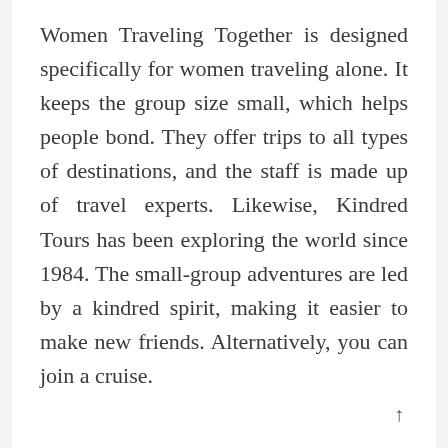Women Traveling Together is designed specifically for women traveling alone. It keeps the group size small, which helps people bond. They offer trips to all types of destinations, and the staff is made up of travel experts. Likewise, Kindred Tours has been exploring the world since 1984. The small-group adventures are led by a kindred spirit, making it easier to make new friends. Alternatively, you can join a cruise.